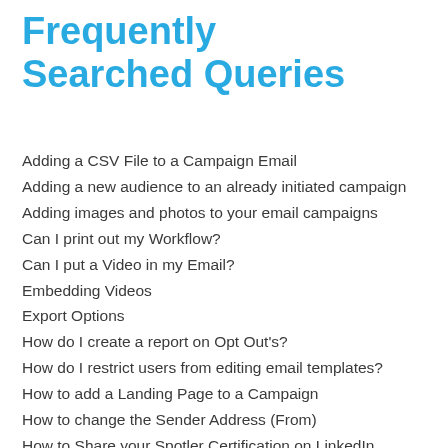Frequently Searched Queries
Adding a CSV File to a Campaign Email
Adding a new audience to an already initiated campaign
Adding images and photos to your email campaigns
Can I print out my Workflow?
Can I put a Video in my Email?
Embedding Videos
Export Options
How do I create a report on Opt Out's?
How do I restrict users from editing email templates?
How to add a Landing Page to a Campaign
How to change the Sender Address (From)
How to Share your Spotler Certification on LinkedIn